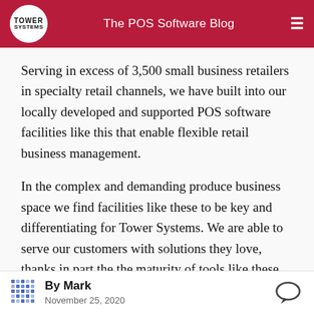The POS Software Blog
Serving in excess of 3,500 small business retailers in specialty retail channels, we have built into our locally developed and supported POS software facilities like this that enable flexible retail business management.
In the complex and demanding produce business space we find facilities like these to be key and differentiating for Tower Systems. We are able to serve our customers with solutions they love, thanks in part the the maturity of tools like these that we offer our customers.
By Mark
November 25, 2020